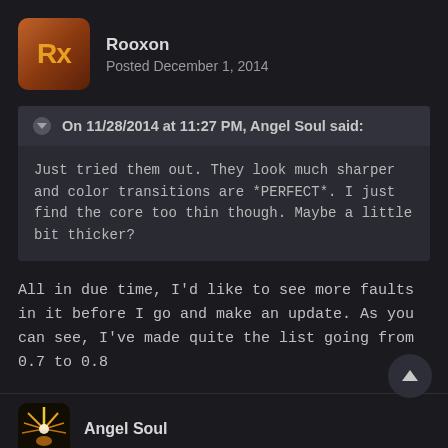Rooxon
Posted December 1, 2014
On 11/28/2014 at 11:27 PM, Angel Soul said:
Just tried them out. They look much sharper and color transitions are *PERFECT*. I just find the core too thin though.  Maybe a little bit thicker?
All in due time, I'd like to see more faults in it before I go and make an update. As you can see, I've made quite the list going from 0.7 to 0.8
Angel Soul likes this
Angel Soul
Posted December 1, 2014